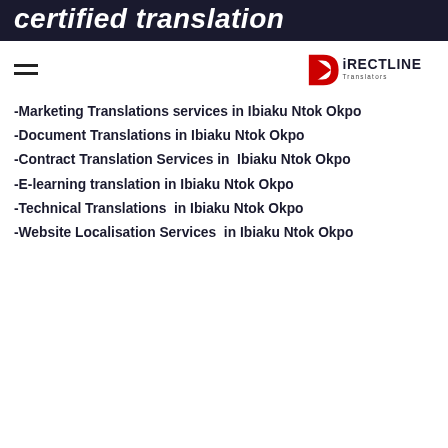certified translation
navigation menu and DirectLine Translators logo
-Marketing Translations services in Ibiaku Ntok Okpo
-Document Translations in Ibiaku Ntok Okpo
-Contract Translation Services in Ibiaku Ntok Okpo
-E-learning translation in Ibiaku Ntok Okpo
-Technical Translations in Ibiaku Ntok Okpo
-Website Localisation Services in Ibiaku Ntok Okpo